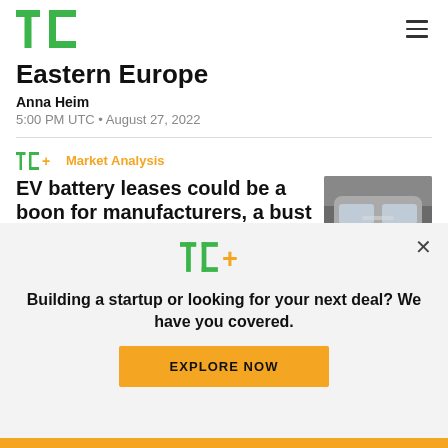TechCrunch logo and navigation
Eastern Europe
Anna Heim
5:00 PM UTC • August 27, 2022
TC+ Market Analysis
EV battery leases could be a boon for manufacturers, a bust for consumers
[Figure (photo): Silver electric vehicle front view close-up]
Building a startup or looking for your next deal? We have you covered.
EXPLORE NOW